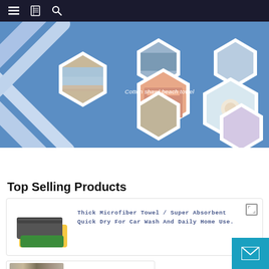Navigation bar with menu, bookmarks, and search icons
[Figure (photo): Banner image showing cotton shawl beach towels arranged in hexagonal frames on a blue background with decorative white X shapes on the left. Text overlay reads 'Cotton shawl beach towel'.]
Top Selling Products
Thick Microfiber Towel / Super Absorbent Quick Dry For Car Wash And Daily Home Use.